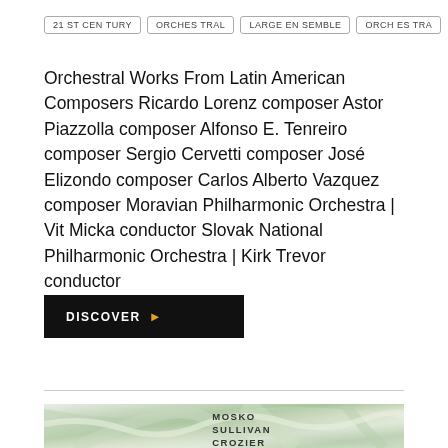21ST CENTURY
ORCHESTRAL
LARGE ENSEMBLE
ORCHESTRA
Orchestral Works From Latin American Composers Ricardo Lorenz composer Astor Piazzolla composer Alfonso E. Tenreiro composer Sergio Cervetti composer José Elizondo composer Carlos Alberto Vazquez composer Moravian Philharmonic Orchestra | Vit Micka conductor Slovak National Philharmonic Orchestra | Kirk Trevor conductor
DISCOVER ▶
[Figure (photo): Close-up photo of large green and white tropical leaves, softly blurred, with text overlaid: MOSKO, SULLIVAN, CROZIER]